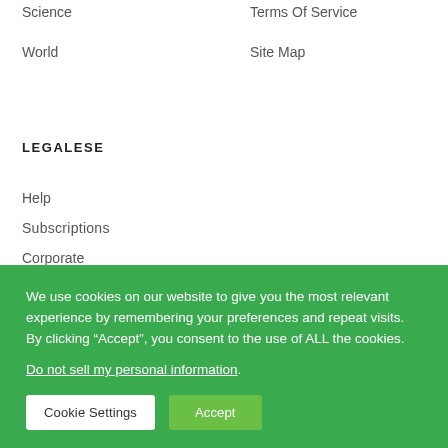Science
World
Terms Of Service
Site Map
LEGALESE
Help
Subscriptions
Corporate
Terms Of Sale
We use cookies on our website to give you the most relevant experience by remembering your preferences and repeat visits. By clicking “Accept”, you consent to the use of ALL the cookies.
Do not sell my personal information.